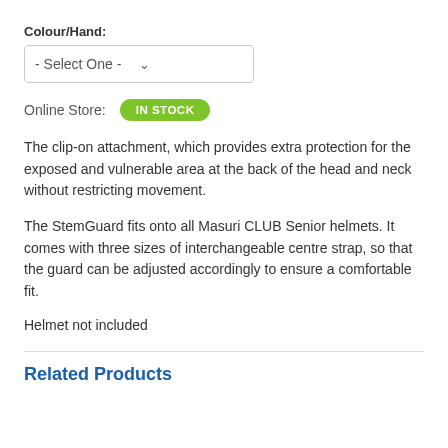Colour/Hand:
- Select One -
Online Store:  IN STOCK
The clip-on attachment, which provides extra protection for the exposed and vulnerable area at the back of the head and neck without restricting movement.
The StemGuard fits onto all Masuri CLUB Senior helmets. It comes with three sizes of interchangeable centre strap, so that the guard can be adjusted accordingly to ensure a comfortable fit.
Helmet not included
Related Products